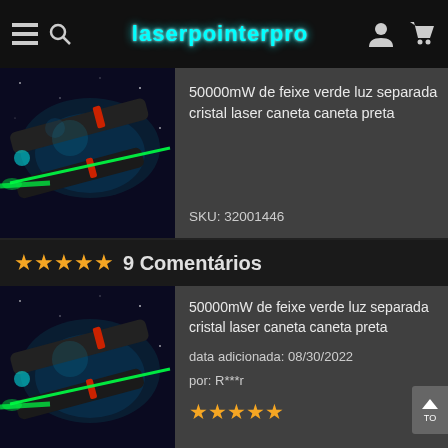laserpointerpro
[Figure (photo): Dark blue background with black laser pointer device emitting green beam]
50000mW de feixe verde luz separada cristal laser caneta caneta preta
SKU: 32001446
★★★★★ 9 Comentários
[Figure (photo): Dark blue background with black laser pointer device emitting green beam]
50000mW de feixe verde luz separada cristal laser caneta caneta preta
data adicionada: 08/30/2022
por: R***r
★★★★★
Just when i had given up after buying 6 SCAM laser pointers from other sellers I HIT THE JACKPOT! I am ecstatic to provide witness/testimony to purchasing a